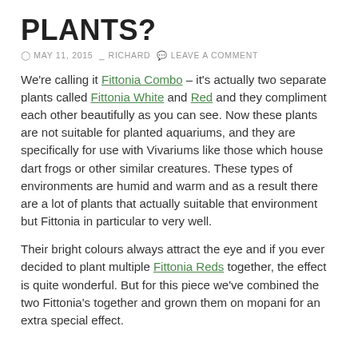PLANTS?
MAY 11, 2015   RICHARD   LEAVE A COMMENT
We're calling it Fittonia Combo – it's actually two separate plants called Fittonia White and Red and they compliment each other beautifully as you can see. Now these plants are not suitable for planted aquariums, and they are specifically for use with Vivariums like those which house dart frogs or other similar creatures. These types of environments are humid and warm and as a result there are a lot of plants that actually suitable that environment but Fittonia in particular to very well.
Their bright colours always attract the eye and if you ever decided to plant multiple Fittonia Reds together, the effect is quite wonderful. But for this piece we've combined the two Fittonia's together and grown them on mopani for an extra special effect.